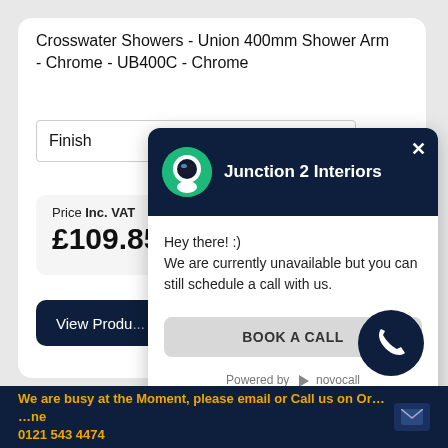Crosswater Showers - Union 400mm Shower Arm - Chrome - UB400C - Chrome
Finish
Price Inc. VAT
£109.85
View Produ...
[Figure (screenshot): Chat widget popup from Junction 2 Interiors showing a chat bot with message 'Hey there! :) We are currently unavailable but you can still schedule a call with us.' and a 'BOOK A CALL' button. Powered by novocall.]
We are busy at the Moment, please email or Call us on Or... ...ne 0121 543 4474